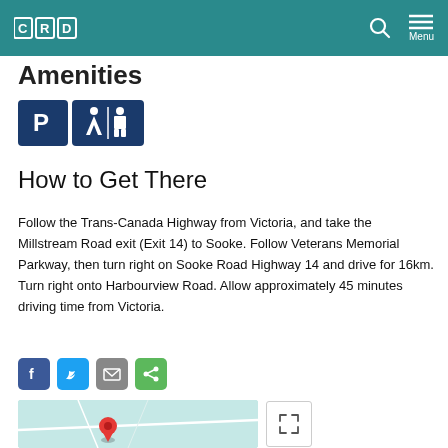CRD
Amenities
[Figure (infographic): Parking and restrooms amenity icons (blue square icons with P and restroom symbols)]
How to Get There
Follow the Trans-Canada Highway from Victoria, and take the Millstream Road exit (Exit 14) to Sooke. Follow Veterans Memorial Parkway, then turn right on Sooke Road Highway 14 and drive for 16km. Turn right onto Harbourview Road. Allow approximately 45 minutes driving time from Victoria.
[Figure (infographic): Social share buttons: Facebook, Twitter, Email, Share]
[Figure (map): Map showing location with red pin marker and expand button]